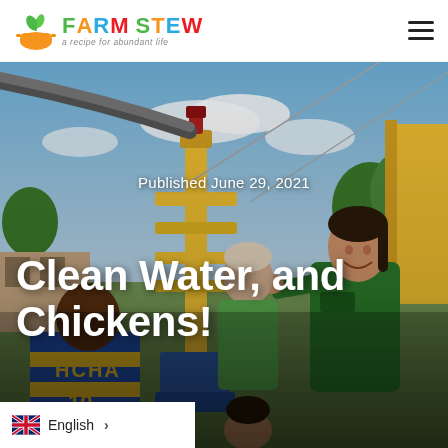Farm Stew — a recipe for abundant life
[Figure (photo): Outdoor scene showing people around yellow water drilling/pump equipment. A smiling woman in a green Farm Stew polo shirt is prominent on the right. A boy in a blue and yellow HCHA jersey (#10) is in the foreground left. An older woman in a green shirt is in the background center. Blue sky with clouds and trees visible.]
Published June 29, 2021
Clean Water, and Chickens!
English